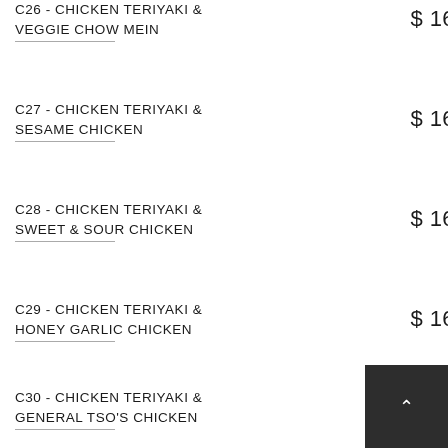C26 - CHICKEN TERIYAKI & VEGGIE CHOW MEIN   $ 16
C27 - CHICKEN TERIYAKI & SESAME CHICKEN   $ 16
C28 - CHICKEN TERIYAKI & SWEET & SOUR CHICKEN   $ 16
C29 - CHICKEN TERIYAKI & HONEY GARLIC CHICKEN   $ 16
C30 - CHICKEN TERIYAKI & GENERAL TSO'S CHICKEN   $ 16